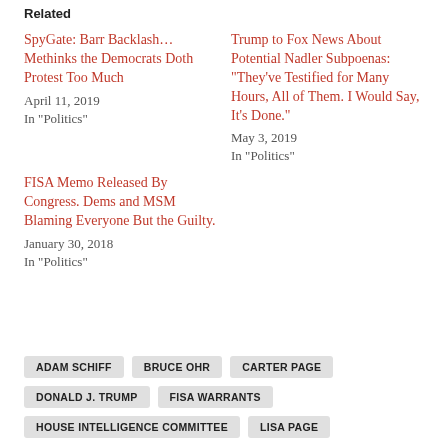Related
SpyGate: Barr Backlash… Methinks the Democrats Doth Protest Too Much
April 11, 2019
In "Politics"
Trump to Fox News About Potential Nadler Subpoenas: “They’ve Testified for Many Hours, All of Them. I Would Say, It’s Done.”
May 3, 2019
In "Politics"
FISA Memo Released By Congress. Dems and MSM Blaming Everyone But the Guilty.
January 30, 2018
In "Politics"
ADAM SCHIFF
BRUCE OHR
CARTER PAGE
DONALD J. TRUMP
FISA WARRANTS
HOUSE INTELLIGENCE COMMITTEE
LISA PAGE